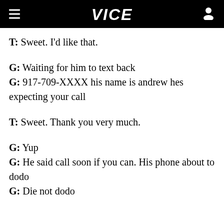VICE
T: Sweet. I'd like that.
G: Waiting for him to text back
G: 917-709-XXXX his name is andrew hes expecting your call
T: Sweet. Thank you very much.
G: Yup
G: He said call soon if you can. His phone about to dodo
G: Die not dodo